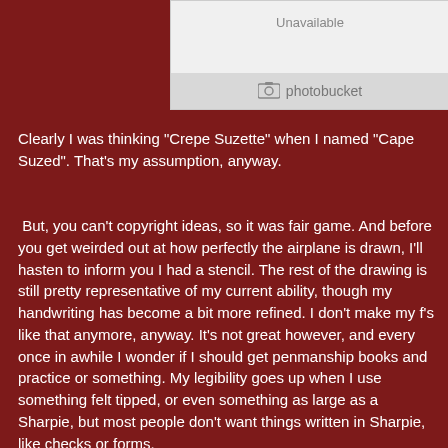[Figure (screenshot): Photobucket image placeholder showing 'Unavailable' text with Photobucket logo at the bottom]
Clearly I was thinking "Crepe Suzette" when I named "Cape Suzed". That's my assumption, anyway.
But, you can't copyright ideas, so it was fair game. And before you get weirded out at how perfectly the airplane is drawn, I'll hasten to inform you I had a stencil. The rest of the drawing is still pretty representative of my current ability, though my handwriting has become a bit more refined. I don't make my f's like that anymore, anyway. It's not great however, and every once in awhile I wonder if I should get penmanship books and practice or something. My legibility goes up when I use something felt tipped, or even something as large as a Sharpie, but most people don't want things written in Sharpie, like checks or forms.